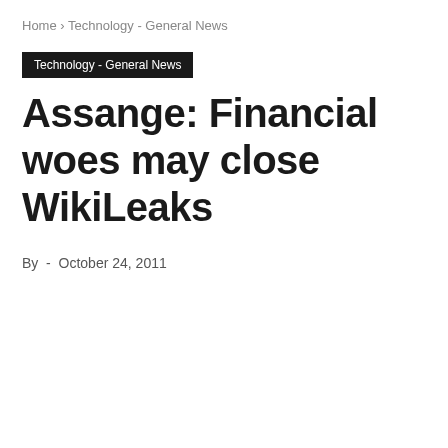Home › Technology - General News
Technology - General News
Assange: Financial woes may close WikiLeaks
By  -  October 24, 2011